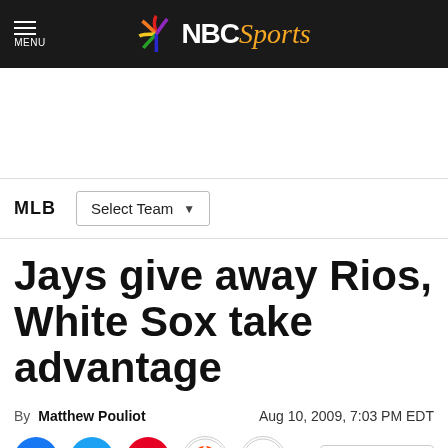NBC Sports
MLB  Select Team
Jays give away Rios, White Sox take advantage
By Matthew Pouliot  Aug 10, 2009, 7:03 PM EDT